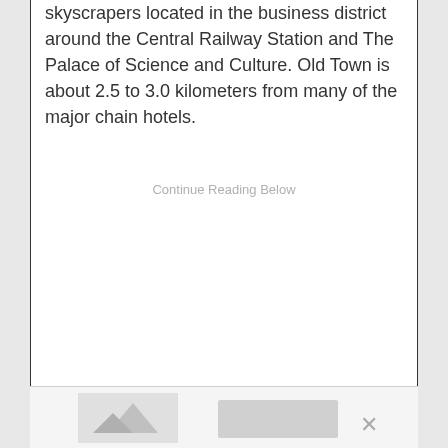skyscrapers located in the business district around the Central Railway Station and The Palace of Science and Culture. Old Town is about 2.5 to 3.0 kilometers from many of the major chain hotels.
Continue Reading Below